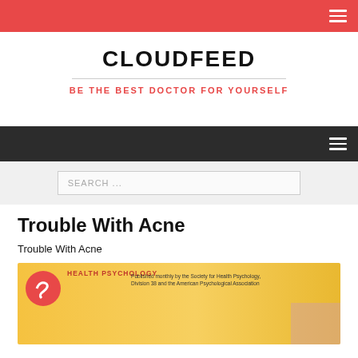CLOUDFEED — BE THE BEST DOCTOR FOR YOURSELF
Trouble With Acne
Trouble With Acne
[Figure (screenshot): Health Psychology journal cover image with logo and text: Published monthly by the Society for Health Psychology, Division 38 and the American Psychological Association]